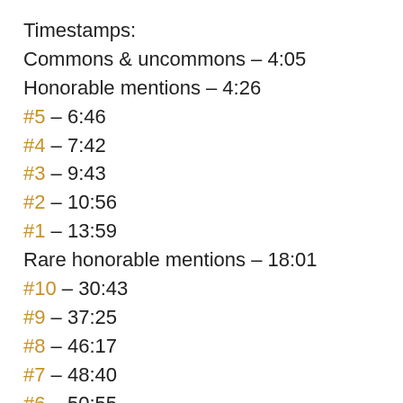Timestamps:
Commons & uncommons – 4:05
Honorable mentions – 4:26
#5 – 6:46
#4 – 7:42
#3 – 9:43
#2 – 10:56
#1 – 13:59
Rare honorable mentions – 18:01
#10 – 30:43
#9 – 37:25
#8 – 46:17
#7 – 48:40
#6 – 50:55
#5 – 54:15
#4 – 56:02
#3 – 59:34